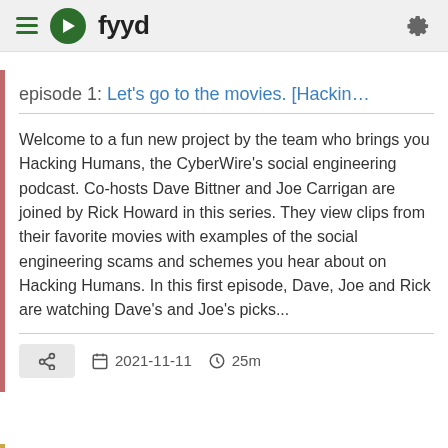fyyd
episode 1: Let's go to the movies. [Hackin...
Welcome to a fun new project by the team who brings you Hacking Humans, the CyberWire's social engineering podcast. Co-hosts Dave Bittner and Joe Carrigan are joined by Rick Howard in this series. They view clips from their favorite movies with examples of the social engineering scams and schemes you hear about on Hacking Humans. In this first episode, Dave, Joe and Rick are watching Dave's and Joe's picks...
2021-11-11   25m
episode 1: Introducing Control Loop, the i...